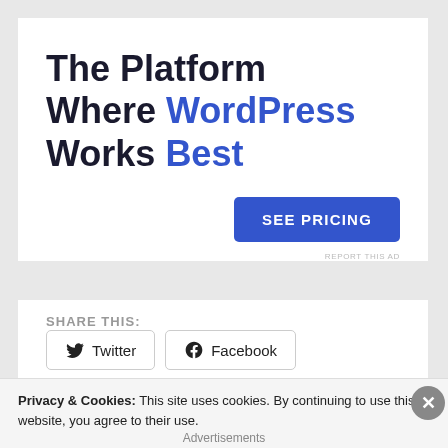The Platform Where WordPress Works Best
SEE PRICING
REPORT THIS AD
SHARE THIS:
Twitter
Facebook
Like
Privacy & Cookies: This site uses cookies. By continuing to use this website, you agree to their use.
To find out more, including how to control cookies, see here: Cookie Policy
Close and accept
Advertisements